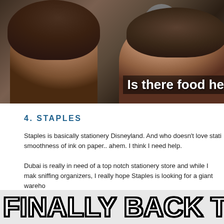[Figure (photo): Screenshot from a video or TV show showing two people facing each other, with a third person in the background. Caption overlay reads 'Is there food he']
4. STAPLES
Staples is basically stationery Disneyland. And who doesn't love stati... smoothness of ink on paper.. ahem. I think I need help.
Dubai is really in need of a top notch stationery store and while I mak... sniffing organizers,  I really hope Staples is looking for a giant wareho...
[Figure (photo): Meme image with large Impact font text reading 'FINALLY BACK TO SCH' (cut off)]